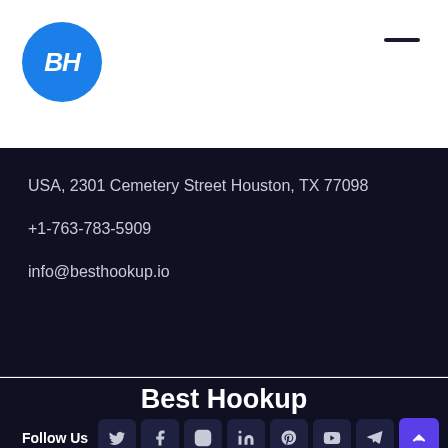[Figure (logo): Blue circle logo with white italic BH letters]
USA, 2301 Cemetery Street Houston, TX 77098
+1-763-783-5909
info@besthookup.io
Best Hookup
Follow Us
[Figure (infographic): Social media icons row: Twitter, Facebook, Instagram, LinkedIn, Pinterest, YouTube, Telegram, and purple scroll-up button]